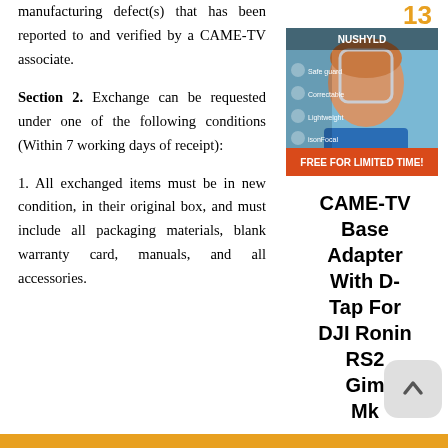13
manufacturing defect(s) that has been reported to and verified by a CAME-TV associate.
Section 2. Exchange can be requested under one of the following conditions (Within 7 working days of receipt):
1. All exchanged items must be in new condition, in their original box, and must include all packaging materials, blank warranty card, manuals, and all accessories.
[Figure (photo): Advertisement for NUSHYLD app featuring a man with clear face/eye protection shield, labeled FREE FOR LIMITED TIME!]
CAME-TV Base Adapter With D-Tap For DJI Ronin RS2 Gimbal Mk